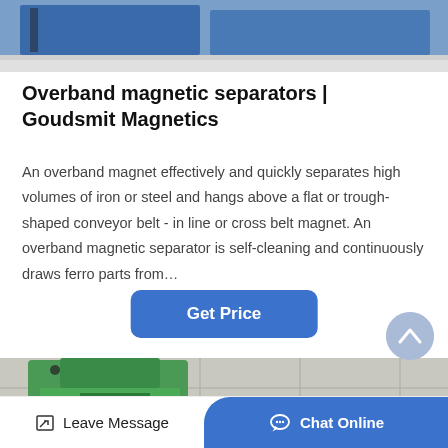[Figure (photo): Top of page: partial photo of industrial magnetic separator equipment with blue metal casing on concrete floor]
Overband magnetic separators | Goudsmit Magnetics
An overband magnet effectively and quickly separates high volumes of iron or steel and hangs above a flat or trough-shaped conveyor belt - in line or cross belt magnet. An overband magnetic separator is self-cleaning and continuously draws ferro parts from…
[Figure (other): Blue rounded rectangle button with white bold text 'Get Price']
[Figure (photo): Bottom portion: photo of green industrial hopper/crusher machine against tiled wall background]
Leave Message    Chat Online